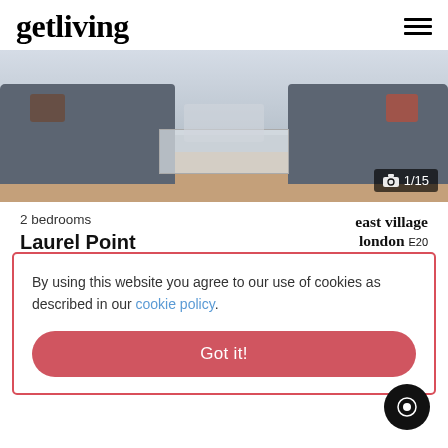getliving (logo) with hamburger menu
[Figure (photo): Interior photo of a living room with grey sofas, glass coffee table, and large windows. Photo counter shows 1/15.]
2 bedrooms
Laurel Point
east village london E20
By using this website you agree to our use of cookies as described in our cookie policy.
Got it!